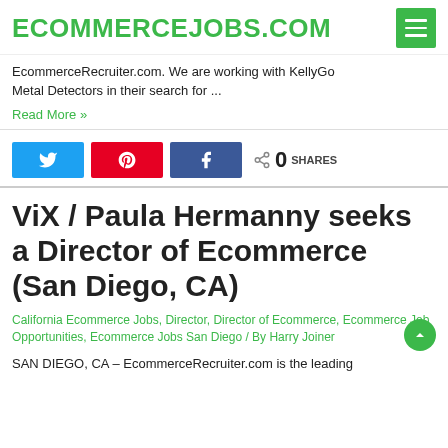ECOMMERCEJOBS.COM
EcommerceRecruiter.com. We are working with KellyGo Metal Detectors in their search for ...
Read More »
[Figure (screenshot): Social share buttons: Twitter (blue), Pinterest (red), Facebook (dark blue), and share count showing 0 SHARES]
ViX / Paula Hermanny seeks a Director of Ecommerce (San Diego, CA)
California Ecommerce Jobs, Director, Director of Ecommerce, Ecommerce Job Opportunities, Ecommerce Jobs San Diego / By Harry Joiner
SAN DIEGO, CA – EcommerceRecruiter.com is the leading